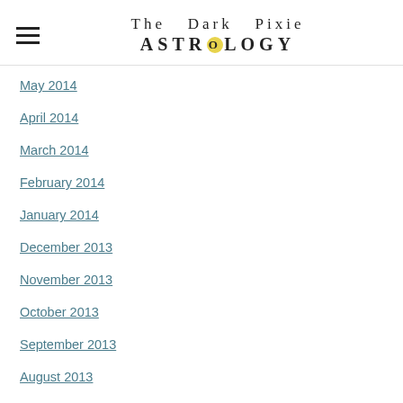The Dark Pixie Astrology
May 2014
April 2014
March 2014
February 2014
January 2014
December 2013
November 2013
October 2013
September 2013
August 2013
July 2013
June 2013
May 2013
April 2013
March 2013